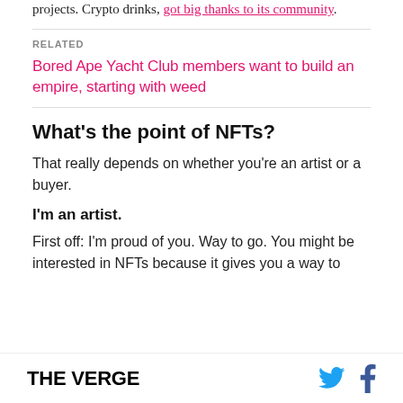projects. Crypto drinks, got big thanks to its community.
RELATED
Bored Ape Yacht Club members want to build an empire, starting with weed
What's the point of NFTs?
That really depends on whether you're an artist or a buyer.
I'm an artist.
First off: I'm proud of you. Way to go. You might be interested in NFTs because it gives you a way to
THE VERGE